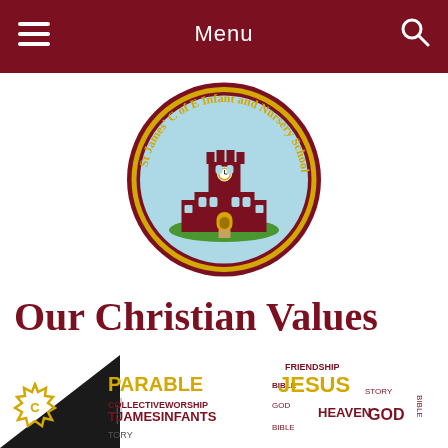Menu
[Figure (logo): St James' C of E Infant and Nursery School circular logo with illustration of a church building]
Our Christian Values
Home >> Key Information >> Our Christian Values
[Figure (infographic): Word cloud showing Christian/religious words including PARABLE, COLLECTIVEWORSHIP, TJAMESINFANTS, FRIENDSHIP, JESUS, BIBLE, GOD, HEAVEN, STORY, GOD]